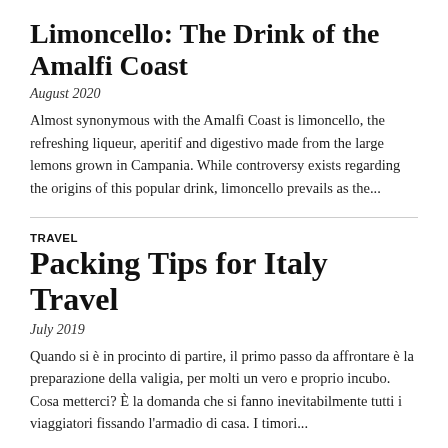Limoncello: The Drink of the Amalfi Coast
August 2020
Almost synonymous with the Amalfi Coast is limoncello, the refreshing liqueur, aperitif and digestivo made from the large lemons grown in Campania. While controversy exists regarding the origins of this popular drink, limoncello prevails as the...
TRAVEL
Packing Tips for Italy Travel
July 2019
Quando si è in procinto di partire, il primo passo da affrontare è la preparazione della valigia, per molti un vero e proprio incubo. Cosa metterci? È la domanda che si fanno inevitabilmente tutti i viaggiatori fissando l'armadio di casa. I timori...